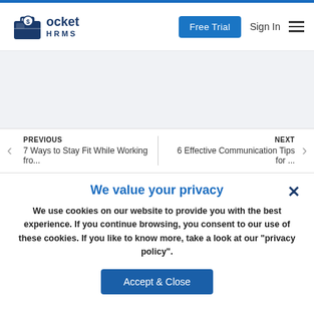[Figure (logo): Pocket HRMS logo with wallet/briefcase icon in dark blue]
Free Trial
Sign In
PREVIOUS
7 Ways to Stay Fit While Working fro...
NEXT
6 Effective Communication Tips for ...
We value your privacy
We use cookies on our website to provide you with the best experience. If you continue browsing, you consent to our use of these cookies. If you like to know more, take a look at our "privacy policy".
Accept & Close